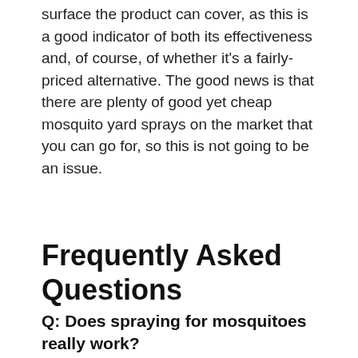surface the product can cover, as this is a good indicator of both its effectiveness and, of course, of whether it's a fairly-priced alternative. The good news is that there are plenty of good yet cheap mosquito yard sprays on the market that you can go for, so this is not going to be an issue.
Frequently Asked Questions
Q: Does spraying for mosquitoes really work?